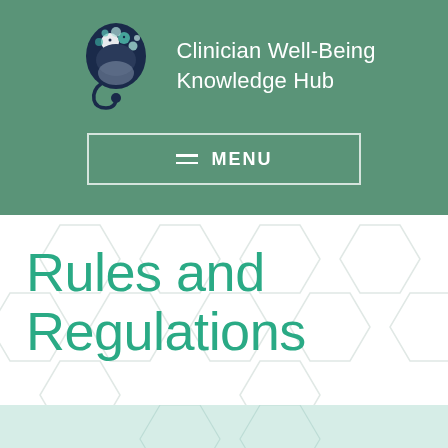[Figure (logo): Clinician Well-Being Knowledge Hub logo: stylized human head silhouette in dark navy with colorful bubbles and stethoscope, with site name text to the right]
Rules and Regulations